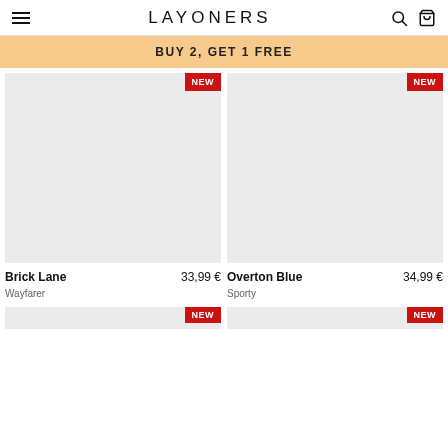LAYONERS
BUY 2, GET 1 FREE
[Figure (photo): Product image placeholder for Brick Lane sunglasses with NEW badge]
[Figure (photo): Product image placeholder for Overton Blue sunglasses with NEW badge]
Brick Lane
33,99 €
Wayfarer
Overton Blue
34,99 €
Sporty